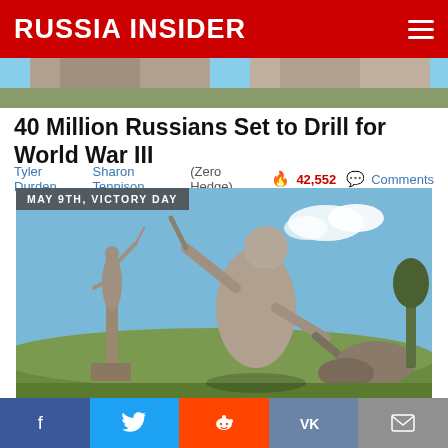RUSSIA INSIDER
[Figure (photo): Top cropped photo of statues against sky (partial, cut off at top)]
40 Million Russians Set to Drill for World War III
Tyler Durden  Sharon Tennison  (Zero Hedge) 🔥 42,552 💬 Comments
MAY 9TH, VICTORY DAY
[Figure (photo): War memorial statues in Russia — Motherland Calls and a soldier statue against blue sky with clouds]
Amazing Russian WW2 Monuments in This Viral Song
[Figure (infographic): Social sharing bar with Facebook, Twitter, Reddit, VK, and email icons]